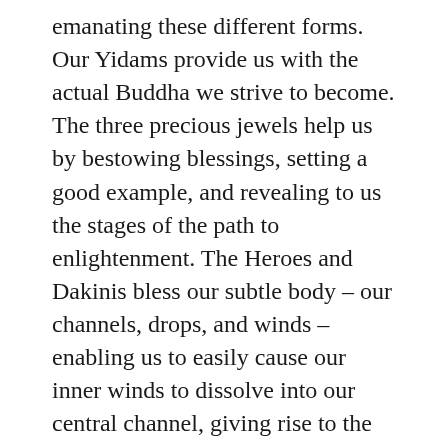emanating these different forms. Our Yidams provide us with the actual Buddha we strive to become. The three precious jewels help us by bestowing blessings, setting a good example, and revealing to us the stages of the path to enlightenment. The Heroes and Dakinis bless our subtle body – our channels, drops, and winds – enabling us to easily cause our inner winds to dissolve into our central channel, giving rise to the appearances of the eight dissolutions, resulting finally in the mind of the Clear Light of Bliss. The Dharma protectors and dharmapala's arrange all the outer and inner conditions necessary for our swiftest possible enlightenment.
Understanding the value of receiving all this